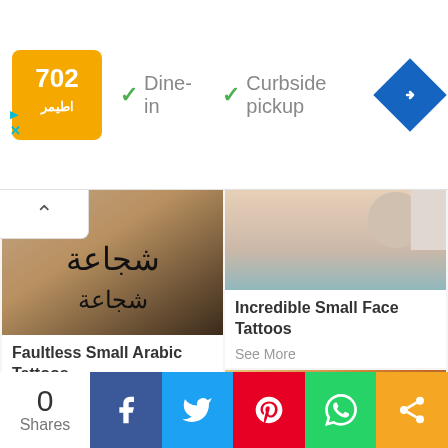[Figure (screenshot): Advertisement banner with orange/yellow logo, Dine-in and Curbside pickup checkmarks, and blue navigation diamond icon]
[Figure (photo): Wrist with Arabic script tattoo reading courage/bravery in black ink]
Faultless Small Arabic Tattoos
See More
[Figure (photo): Close-up of face/neck area with small tattoo]
Incredible Small Face Tattoos
See More
[Figure (photo): Wrist with cursive/calligraphy tattoo on warm toned background]
[Figure (infographic): Social share bar with 0 shares, Facebook, Twitter, Pinterest, WhatsApp, and share buttons]